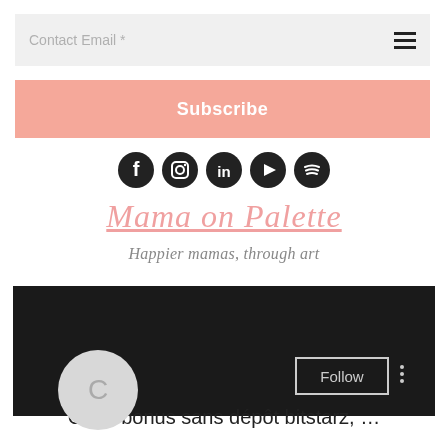[Figure (screenshot): Contact email input field with placeholder text 'Contact Email *' and hamburger menu icon on the right, on a light gray background]
[Figure (screenshot): Pink 'Subscribe' button]
[Figure (screenshot): Row of five social media icons (Facebook, Instagram, LinkedIn, YouTube, Spotify) in black circles]
Mama on Palette
Happier mamas, through art
[Figure (screenshot): Screenshot of a social media profile with dark/black background, a gray avatar circle with letter C, a Follow button with border, and three vertical dots menu]
Code bonus sans dépôt bitstarz, …